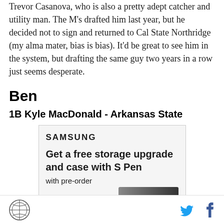Trevor Casanova, who is also a pretty adept catcher and utility man. The M's drafted him last year, but he decided not to sign and returned to Cal State Northridge (my alma mater, bias is bias). It'd be great to see him in the system, but drafting the same guy two years in a row just seems desperate.
Ben
1B Kyle MacDonald - Arkansas State
[Figure (screenshot): Samsung advertisement: 'Get a free storage upgrade and case with S Pen with pre-order' with a partial image of a Samsung device at bottom right.]
Site logo icon, Twitter bird icon, Facebook f icon